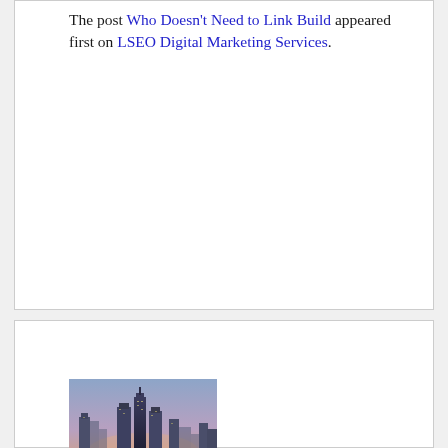The post Who Doesn't Need to Link Build appeared first on LSEO Digital Marketing Services.
[Figure (photo): City skyline at dusk with tall buildings and a crowd or stadium in the foreground, pinkish-blue sky]